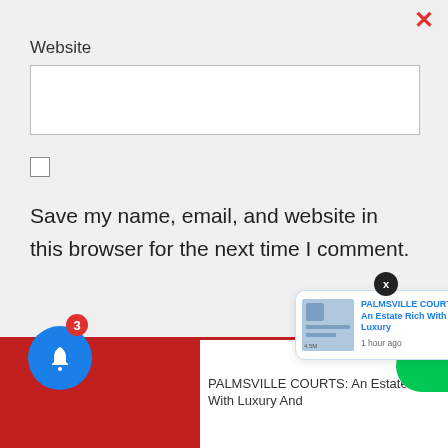Website
[Figure (screenshot): Empty website input text field]
[Figure (screenshot): Unchecked checkbox]
Save my name, email, and website in this browser for the next time I comment.
Post Comment
[Figure (screenshot): Notification popup with PALMSVILLE COURTS: An Estate Rich With Luxury, 1 hour ago]
PALMSVILLE COURTS: An Estate Rich With Luxury And